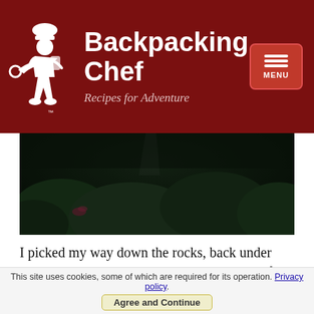Backpacking Chef — Recipes for Adventure
[Figure (photo): Dark moody forest/foliage hero image, dark green tones with low light filtering through rhododendron leaves]
I picked my way down the rocks, back under tree line, and passed through a dark tunnel of rhododendron. Thin beams of sunlight broke through and lit up the wings of tiny white moths fluttering inside. They twinkled. I took a side trail out to Blackstack Cliffs and sprawled out on a slab of rock jutting into the sky. A hawk floated on the currents above me. After a good
This site uses cookies, some of which are required for its operation. Privacy policy.
Agree and Continue